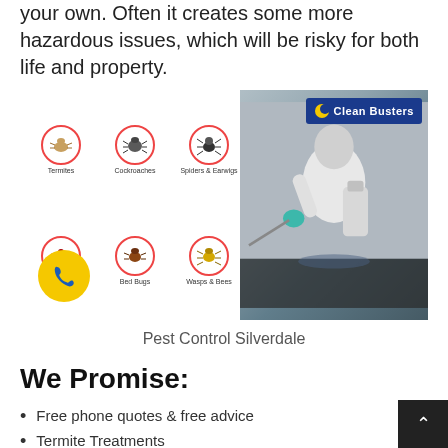your own. Often it creates some more hazardous issues, which will be risky for both life and property.
[Figure (photo): Pest control promotional image showing a grid of pest icons (Termites, Cockroaches, Spiders & Earwigs, Ants, Bed Bugs, Wasps & Bees, Rats & Mice) on the left, and a person in white protective suit spraying pesticide on the right, with a Clean Busters logo in the top right corner and a yellow phone button on the bottom left.]
Pest Control Silverdale
We Promise:
Free phone quotes & free advice
Termite Treatments
Termite/ White ant Inspections
Residential & Commercial pest control
Quality Work reasonably priced